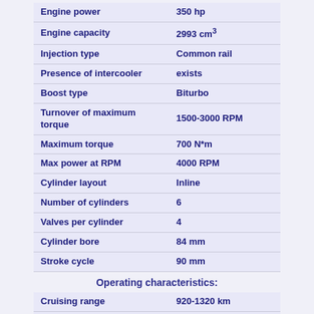| Property | Value |
| --- | --- |
| Engine power | 350 hp |
| Engine capacity | 2993 cm³ |
| Injection type | Common rail |
| Presence of intercooler | exists |
| Boost type | Biturbo |
| Turnover of maximum torque | 1500-3000 RPM |
| Maximum torque | 700 N*m |
| Max power at RPM | 4000 RPM |
| Cylinder layout | Inline |
| Number of cylinders | 6 |
| Valves per cylinder | 4 |
| Cylinder bore | 84 mm |
| Stroke cycle | 90 mm |
Operating characteristics:
| Property | Value |
| --- | --- |
| Cruising range | 920-1320 km |
| Acceleration (0-100 km/h) | 5.1-5.3 sec |
| Mixed driving fuel consumption per 100 km | 5.9-6.2 litre |